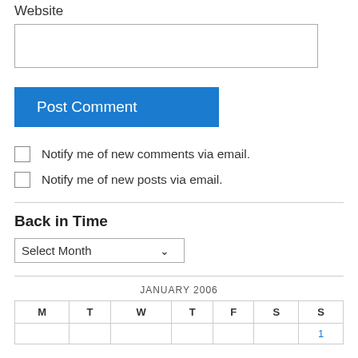Website
Post Comment
Notify me of new comments via email.
Notify me of new posts via email.
Back in Time
Select Month
| M | T | W | T | F | S | S |
| --- | --- | --- | --- | --- | --- | --- |
|  |  |  |  |  |  | 1 |